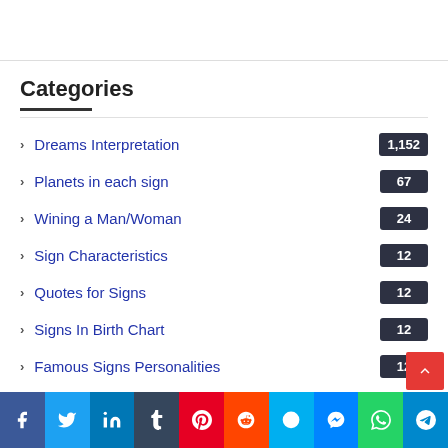Categories
Dreams Interpretation 1,152
Planets in each sign 67
Wining a Man/Woman 24
Sign Characteristics 12
Quotes for Signs 12
Signs In Birth Chart 12
Famous Signs Personalities 12
Facts about Signs 12
Combination of Signs
Facebook Twitter LinkedIn Tumblr Pinterest Reddit Skype Messenger WhatsApp Telegram